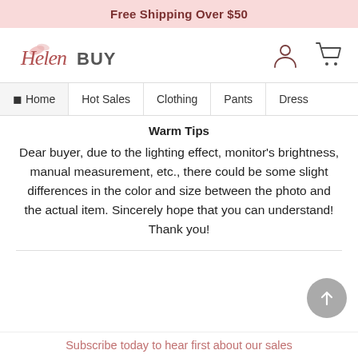Free Shipping Over $50
[Figure (logo): HelenBUY logo with stylized script text and flower decoration, plus user account and cart icons]
Home | Hot Sales | Clothing | Pants | Dress
Warm Tips
Dear buyer, due to the lighting effect, monitor's brightness, manual measurement, etc., there could be some slight differences in the color and size between the photo and the actual item. Sincerely hope that you can understand! Thank you!
Subscribe today to hear first about our sales